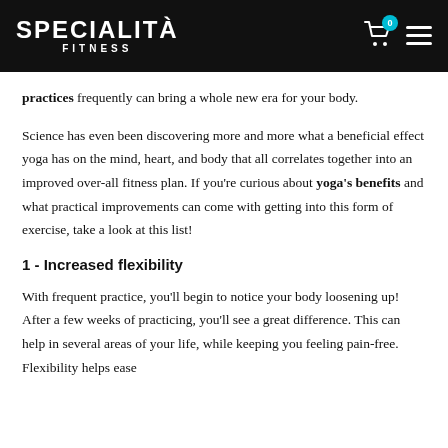Specialità FITNESS
practices frequently can bring a whole new era for your body.
Science has even been discovering more and more what a beneficial effect yoga has on the mind, heart, and body that all correlates together into an improved over-all fitness plan. If you're curious about yoga's benefits and what practical improvements can come with getting into this form of exercise, take a look at this list!
1 - Increased flexibility
With frequent practice, you'll begin to notice your body loosening up! After a few weeks of practicing, you'll see a great difference. This can help in several areas of your life, while keeping you feeling pain-free. Flexibility helps ease